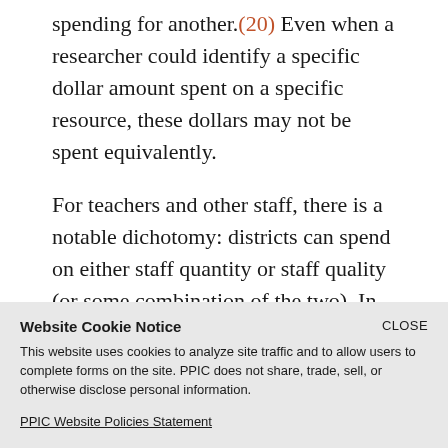spending for another.(20) Even when a researcher could identify a specific dollar amount spent on a specific resource, these dollars may not be spent equivalently.
For teachers and other staff, there is a notable dichotomy: districts can spend on either staff quantity or staff quality (or some combination of the two). In practical terms, this is often a tradeoff—we can spend more to hire additional teachers. but we may have
Website Cookie Notice
This website uses cookies to analyze site traffic and to allow users to complete forms on the site. PPIC does not share, trade, sell, or otherwise disclose personal information.
PPIC Website Policies Statement